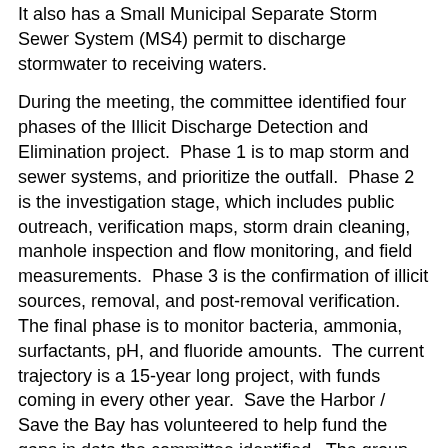It also has a Small Municipal Separate Storm Sewer System (MS4) permit to discharge stormwater to receiving waters.
During the meeting, the committee identified four phases of the Illicit Discharge Detection and Elimination project.  Phase 1 is to map storm and sewer systems, and prioritize the outfall.  Phase 2 is the investigation stage, which includes public outreach, verification maps, storm drain cleaning, manhole inspection and flow monitoring, and field measurements.  Phase 3 is the confirmation of illicit sources, removal, and post-removal verification.  The final phase is to monitor bacteria, ammonia, surfactants, pH, and fluoride amounts.  The current trajectory is a 15-year long project, with funds coming in every other year.  Save the Harbor / Save the Bay has volunteered to help fund the gaps in data the committee identified.  The group will accelerate the process of cleaning up King's and reduce the 15-year number.
What's next for King's Beach? Save the Harbor will be looking into data gaps and potential costs, and the committee will come together after all sides look at the problem again. To follow the updates on what the committee is doing and what is new at King's Beach and all Boston public beaches, follow Save the Harbor / Save the Bay on Facebook, on the web,